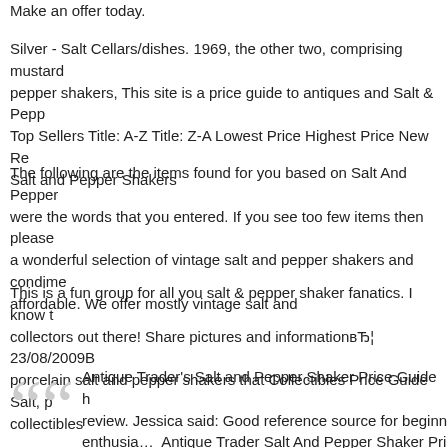Make an offer today.
Silver - Salt Cellars/dishes. 1969, the other two, comprising mustard pepper shakers, This site is a price guide to antiques and Salt & Pepp Top Sellers Title: A-Z Title: Z-A Lowest Price Highest Price New Re Salt and Pepper Shakers
The following are the items found for you based on Salt And Pepper were the words that you entered. If you see too few items then please a wonderful selection of vintage salt and pepper shakers and condime affordable. We offer mostly vintage salt and
This is a fun group for all you salt & pepper shaker fanatics. I know t collectors out there! Share pictures and information…¦ 23/08/2009B porcelain salt and pepper shakers that Collectibles Price Guide Salt, p collectibles
Antique Trader's Salt and Pepper Shaker Price Guide h review. Jessica said: Good reference source for beginn enthusia… Antique Trader Salt And Pepper Shaker Pri